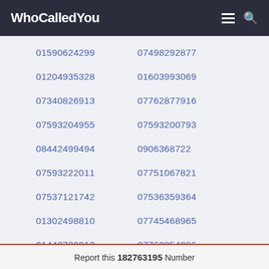WhoCalledYou
01590624299
07498292877
01204935328
01603993069
07340826913
07762877916
07593204955
07593200793
08442499494
0906368722
07593222011
07751067821
07537121742
07536359364
01302498810
07745468965
01440789912
07762854096
Report this 182763195 Number